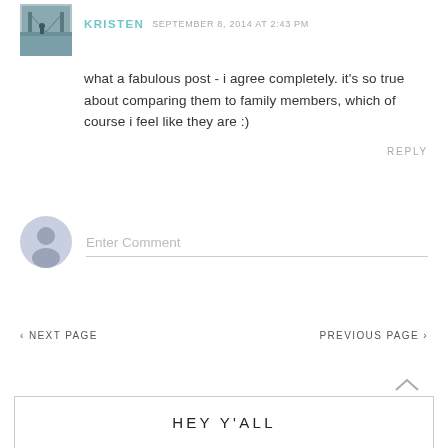[Figure (photo): Small square avatar photo showing a person near water with a bridge in background, tinted blue-grey]
KRISTEN SEPTEMBER 8, 2014 AT 2:43 PM
what a fabulous post - i agree completely. it's so true about comparing them to family members, which of course i feel like they are :)
REPLY
[Figure (illustration): Grey default user avatar circle with silhouette]
Enter Comment
‹ NEXT PAGE
PREVIOUS PAGE ›
HEY Y'ALL